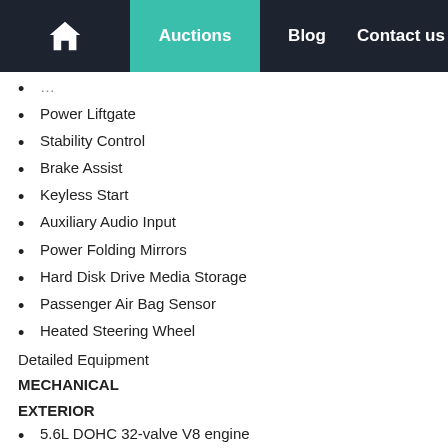Home | Auctions | Blog | Contact us
Power Liftgate
Stability Control
Brake Assist
Keyless Start
Auxiliary Audio Input
Power Folding Mirrors
Hard Disk Drive Media Storage
Passenger Air Bag Sensor
Heated Steering Wheel
Detailed Equipment
MECHANICAL
EXTERIOR
5.6L DOHC 32-valve V8 engine
7-speed automatic transmission w/manual shift mode -inc: adaptive shift control, snow & tow modes, hill start assist
Auto all-mode 4-wheel drive
Front skid plate
Integrated towing receiver class IV hitch w/7-pin wiring harness plug
Front/rear independent double-wishbone suspension